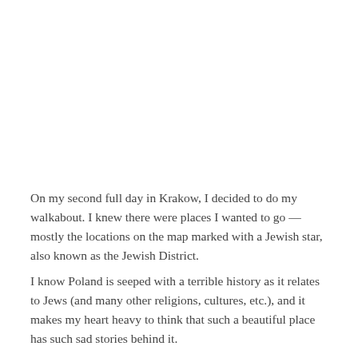On my second full day in Krakow, I decided to do my walkabout. I knew there were places I wanted to go — mostly the locations on the map marked with a Jewish star, also known as the Jewish District.
I know Poland is seeped with a terrible history as it relates to Jews (and many other religions, cultures, etc.), and it makes my heart heavy to think that such a beautiful place has such sad stories behind it.